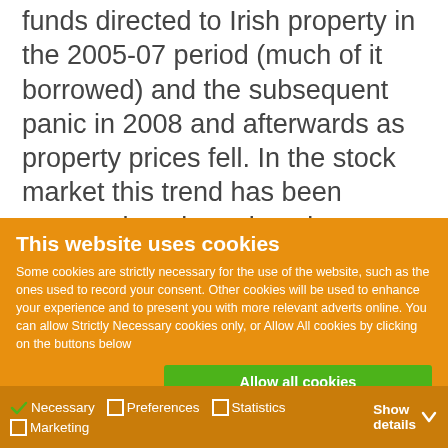funds directed to Irish property in the 2005-07 period (much of it borrowed) and the subsequent panic in 2008 and afterwards as property prices fell. In the stock market this trend has been repeated again and again over the past 100 years. It is the same thinking which has created bubbles in asset values throughout history; from tulip prices in the
This website uses cookies
Some cookies are strictly necessary for the use of the website, such as the ones used to record your consent. Other cookies will be used to enhance your experience and to present you with more relevant adverts online. You can allow Strictly Necessary cookies only, or Allow All cookies by clicking on the buttons below
Allow all cookies
Allow selection
Use necessary cookies only
Necessary  Preferences  Statistics  Marketing  Show details